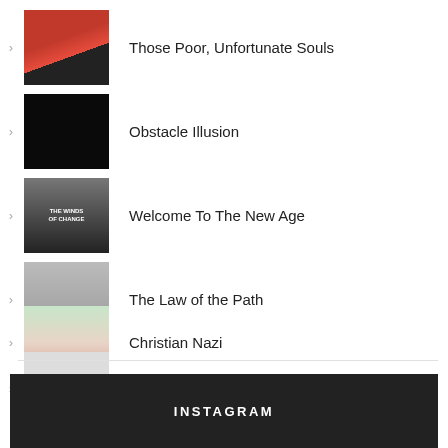Those Poor, Unfortunate Souls
Obstacle Illusion
Welcome To The New Age
The Law of the Path
Christian Nazi
Celebrate the Small Parts
INSTAGRAM